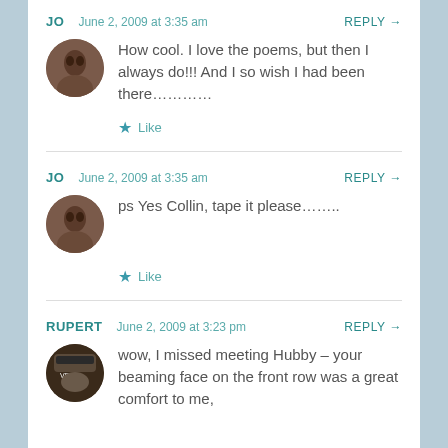JO  June 2, 2009 at 3:35 am  REPLY →
How cool. I love the poems, but then I always do!!! And I so wish I had been there…………
★ Like
JO  June 2, 2009 at 3:35 am  REPLY →
ps Yes Collin, tape it please……..
★ Like
RUPERT  June 2, 2009 at 3:23 pm  REPLY →
wow, I missed meeting Hubby – your beaming face on the front row was a great comfort to me,